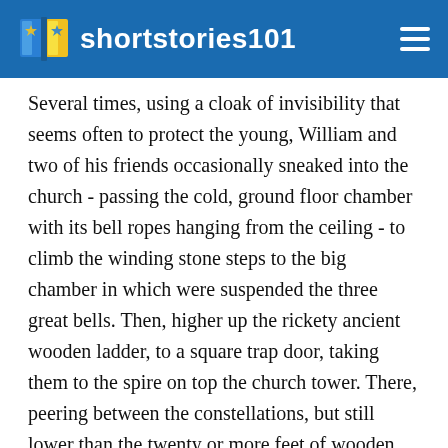shortstories101
Several times, using a cloak of invisibility that seems often to protect the young, William and two of his friends occasionally sneaked into the church - passing the cold, ground floor chamber with its bell ropes hanging from the ceiling - to climb the winding stone steps to the big chamber in which were suspended the three great bells. Then, higher up the rickety ancient wooden ladder, to a square trap door, taking them to the spire on top the church tower. There, peering between the constellations, but still lower than the twenty or more feet of wooden spire, on one of those crystal days following an air-purging cold front, they